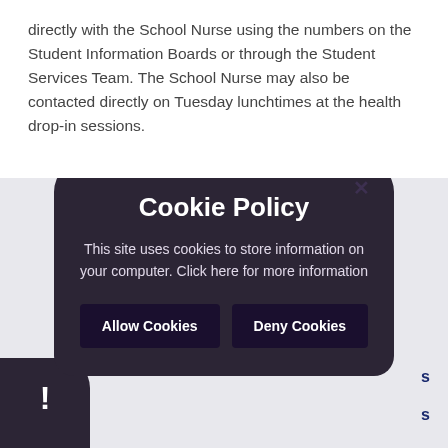directly with the School Nurse using the numbers on the Student Information Boards or through the Student Services Team. The School Nurse may also be contacted directly on Tuesday lunchtimes at the health drop-in sessions.
[Figure (screenshot): Cookie policy modal dialog overlaying a page section. The modal has a dark purple/charcoal background with rounded top corners. It shows a close (×) button, title 'Cookie Policy', body text 'This site uses cookies to store information on your computer. Click here for more information', and two buttons: 'Allow Cookies' and 'Deny Cookies'. Behind the modal, partially visible text reads 'Items this section' in dark navy bold. A small dark popup in the bottom-left corner shows an exclamation mark.]